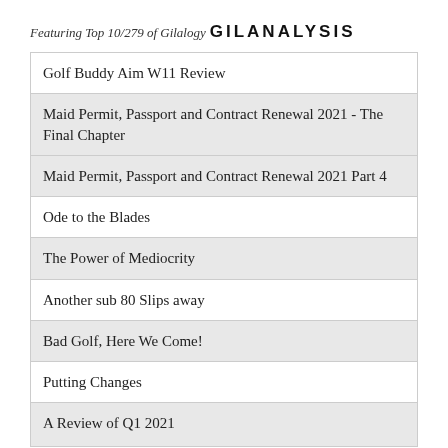Featuring Top 10/279 of Gilalogy
GILANALYSIS
Golf Buddy Aim W11 Review
Maid Permit, Passport and Contract Renewal 2021 - The Final Chapter
Maid Permit, Passport and Contract Renewal 2021 Part 4
Ode to the Blades
The Power of Mediocrity
Another sub 80 Slips away
Bad Golf, Here We Come!
Putting Changes
A Review of Q1 2021